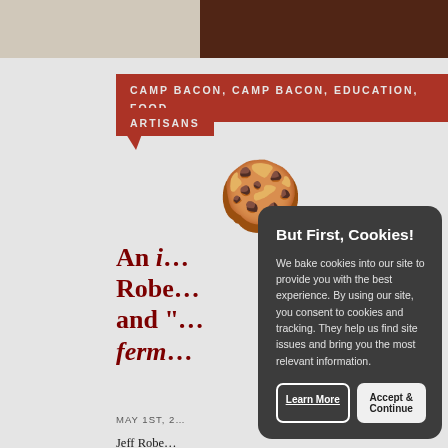[Figure (photo): Two images at top: left is a light-colored food/document image, right is a dark reddish-brown food image (likely bacon or meat).]
CAMP BACON, CAMP BACON, EDUCATION, FOOD ARTISANS
[Figure (illustration): Cookie emoji (chocolate chip cookie) overlapping the article title area.]
An i... Robe... and "... ferm...
MAY 1ST, 2...
Jeff Robe...
about a b...
We've sh...
present.
last thirt...
we've tra...
through...
[...]
But First, Cookies!

We bake cookies into our site to provide you with the best experience. By using our site, you consent to cookies and tracking. They help us find site issues and bring you the most relevant information.

Learn More    Accept & Continue